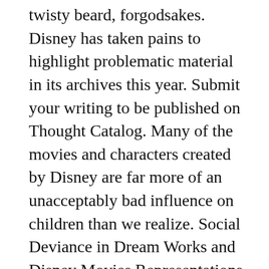twisty beard, forgodsakes. Disney has taken pains to highlight problematic material in its archives this year. Submit your writing to be published on Thought Catalog. Many of the movies and characters created by Disney are far more of an unacceptably bad influence on children than we realize. Social Deviance in Dream Works and Disney Movies Representations of Physical Deformities As Deviance Shrek Dumbo Dumbo is born with a physical deformity that sets him apart from the other elephants He is ridiculed and ostracized When his mother attempts to protect him, she is “Peter Pan” was singled out for its portrayal of “Native people in a stereotypical manner that reflects neither the diversity of Native